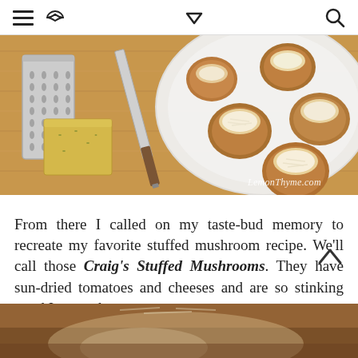≡  <  ∨  🔍
[Figure (photo): Overhead view of stuffed mushrooms on a white serving plate next to a cheese grater with a block of cheese and a knife on a wooden cutting board. Watermark reads LemonThyme.com]
From there I called on my taste-bud memory to recreate my favorite stuffed mushroom recipe.  We'll call those Craig's Stuffed Mushrooms.  They have sun-dried tomatoes and cheeses and are so stinking good I crave them.
[Figure (photo): Bottom portion of a photo showing stuffed mushrooms on a surface, partially cropped]